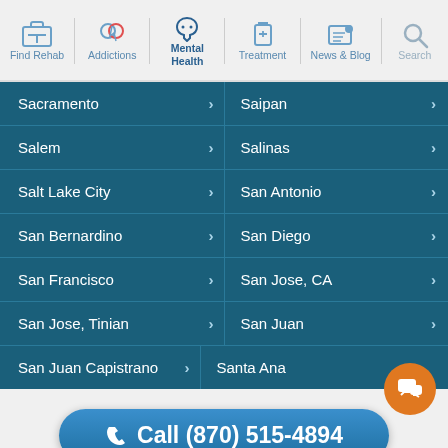Find Rehab | Addictions | Mental Health | Treatment | News & Blog | Search
Sacramento
Saipan
Salem
Salinas
Salt Lake City
San Antonio
San Bernardino
San Diego
San Francisco
San Jose, CA
San Jose, Tinian
San Juan
San Juan Capistrano
Santa Ana
Call (870) 515-4894
Confidentially speak with a treatment provider